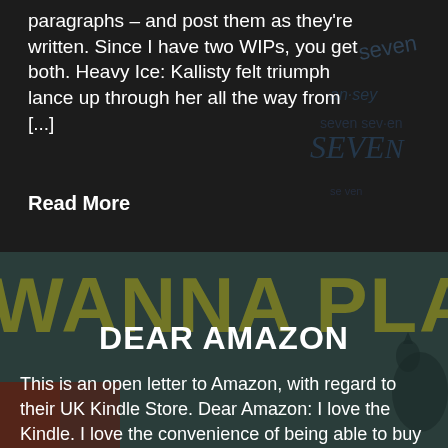paragraphs – and post them as they're written. Since I have two WIPs, you get both. Heavy Ice: Kallisty felt triumph lance up through her all the way from [...]
[Figure (illustration): Dark background with overlapping text showing the word 'seven' in multiple stylized fonts and arrangements]
Read More
[Figure (photo): Dark teal/green background with large gold letters reading 'WANNA PLAY' and a cat silhouette visible on the right side]
DEAR AMAZON
This is an open letter to Amazon, with regard to their UK Kindle Store. Dear Amazon: I love the Kindle. I love the convenience of being able to buy books and